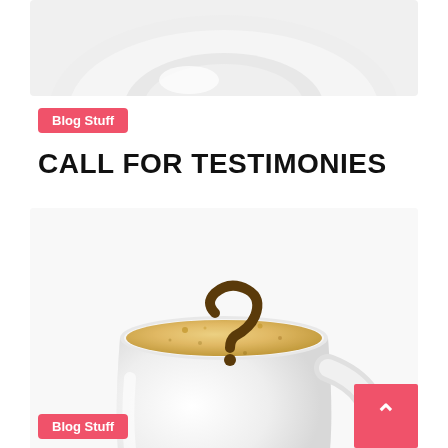[Figure (photo): Cropped top portion of a white plate/dish on a white background]
Blog Stuff
CALL FOR TESTIMONIES
[Figure (photo): White coffee cup on a saucer with a question mark pattern drawn in the foam/crema of the cappuccino]
Blog Stuff